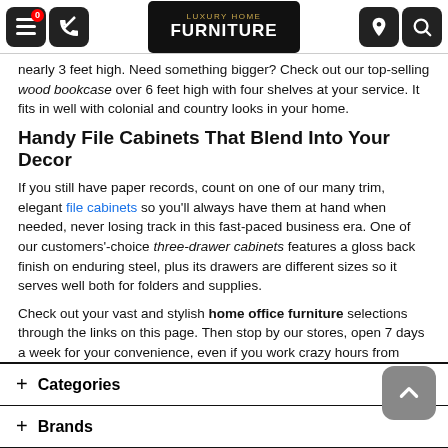Luxury Home Furniture navigation header
nearly 3 feet high. Need something bigger? Check out our top-selling wood bookcase over 6 feet high with four shelves at your service. It fits in well with colonial and country looks in your home.
Handy File Cabinets That Blend Into Your Decor
If you still have paper records, count on one of our many trim, elegant file cabinets so you'll always have them at hand when needed, never losing track in this fast-paced business era. One of our customers'-choice three-drawer cabinets features a gloss back finish on enduring steel, plus its drawers are different sizes so it serves well both for folders and supplies.
Check out your vast and stylish home office furniture selections through the links on this page. Then stop by our stores, open 7 days a week for your convenience, even if you work crazy hours from home!
+ Categories
+ Brands